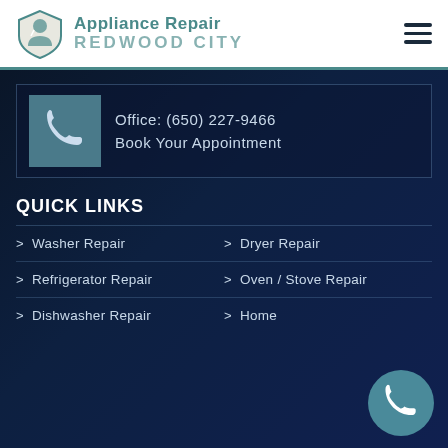Appliance Repair REDWOOD CITY
Office: (650) 227-9466
Book Your Appointment
QUICK LINKS
Washer Repair
Dryer Repair
Refrigerator Repair
Oven / Stove Repair
Dishwasher Repair
Home